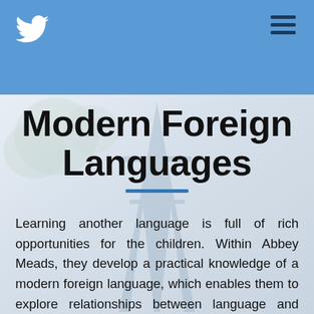Modern Foreign Languages
Learning another language is full of rich opportunities for the children. Within Abbey Meads, they develop a practical knowledge of a modern foreign language, which enables them to explore relationships between language and identity and develop a deeper understanding of